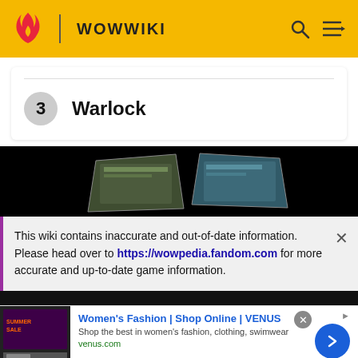WOWWIKI
3  Warlock
[Figure (screenshot): Dark video/game screenshot showing two curved screens with game imagery on a black background]
This wiki contains inaccurate and out-of-date information. Please head over to https://wowpedia.fandom.com for more accurate and up-to-date game information.
Women's Fashion | Shop Online | VENUS
Shop the best in women's fashion, clothing, swimwear
venus.com